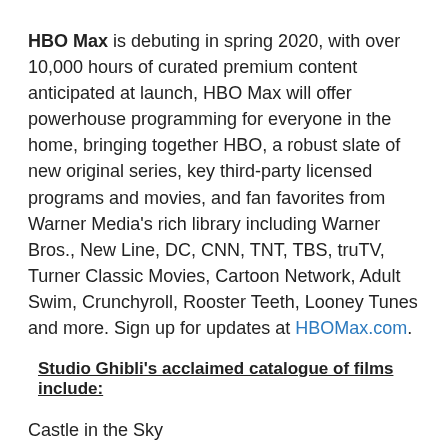HBO Max is debuting in spring 2020, with over 10,000 hours of curated premium content anticipated at launch, HBO Max will offer powerhouse programming for everyone in the home, bringing together HBO, a robust slate of new original series, key third-party licensed programs and movies, and fan favorites from Warner Media's rich library including Warner Bros., New Line, DC, CNN, TNT, TBS, truTV, Turner Classic Movies, Cartoon Network, Adult Swim, Crunchyroll, Rooster Teeth, Looney Tunes and more. Sign up for updates at HBOMax.com.
Studio Ghibli's acclaimed catalogue of films include:
Castle in the Sky
The Cat Returns
From Up On Poppy Hill
Howl's Moving Castle
Kiki's Delivery Service